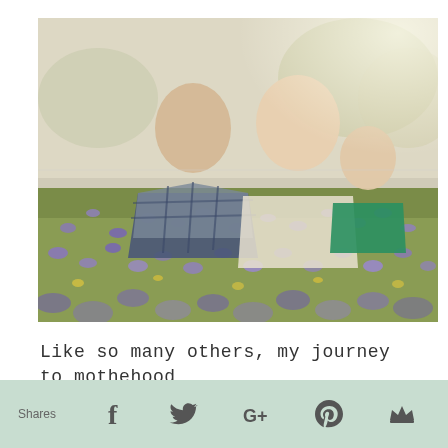[Figure (photo): Family photo of a man in a plaid shirt, a blonde woman, and a baby in a green outfit, sitting in a field of purple wildflowers with soft bokeh background]
Like so many others, my journey to mothehood
l... it b... ith... l... f... i... l t... in th... ...l
Shares [Facebook] [Twitter] [Google+] [Pinterest] [Other]